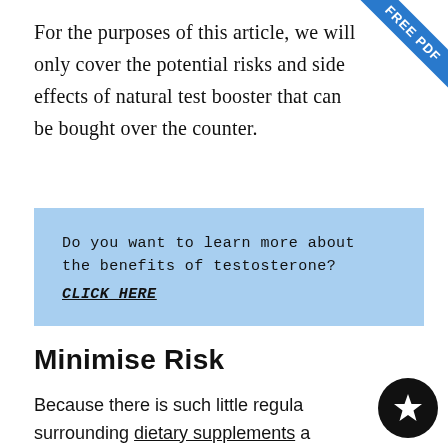For the purposes of this article, we will only cover the potential risks and side effects of natural test booster that can be bought over the counter.
Do you want to learn more about the benefits of testosterone? CLICK HERE
Minimise Risk
Because there is such little regulation surrounding dietary supplements a